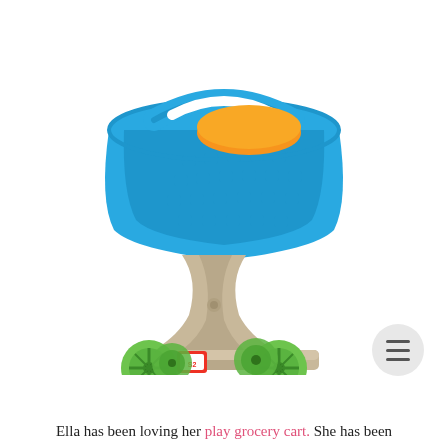[Figure (photo): A colorful children's toy play grocery cart with a blue plastic basket, orange item inside, beige/tan plastic body, and four bright green wheels. There is a red Step2 brand logo on the front of the base.]
Ella has been loving her play grocery cart. She has been